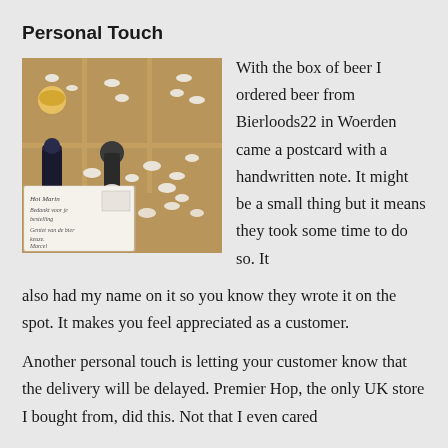Personal Touch
[Figure (photo): A cardboard box with dividers containing beer bottles and foam packing peanuts. In front is a postcard with a handwritten note in Dutch.]
With the box of beer I ordered beer from Bierloods22 in Woerden came a postcard with a handwritten note. It might be a small thing but it means they took some time to do so. It also had my name on it so you know they wrote it on the spot. It makes you feel appreciated as a customer.
Another personal touch is letting your customer know that the delivery will be delayed. Premier Hop, the only UK store I bought from, did this. Not that I even cared